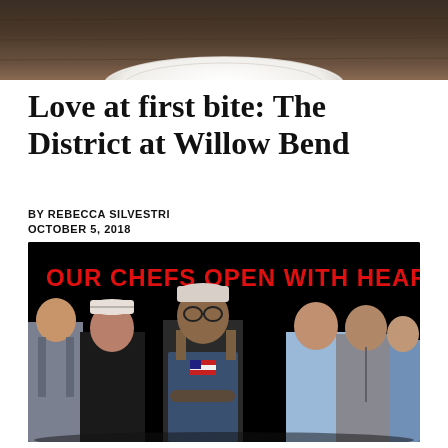[Figure (photo): Top portion of a white ceramic plate on a dark wooden table background]
Love at first bite: The District at Willow Bend
BY REBECCA SILVESTRI
OCTOBER 5, 2018
[Figure (photo): Group photo of six chefs standing together against a black background with red text overlay reading 'OUR CHEFS OPEN WITH HEART']